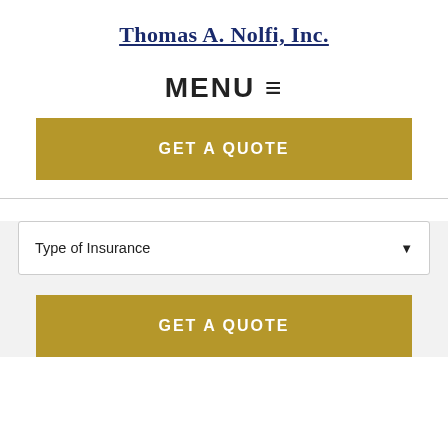Thomas A. Nolfi, Inc.
MENU ≡
GET A QUOTE
Type of Insurance
GET A QUOTE